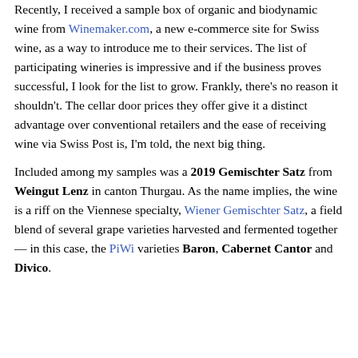Recently, I received a sample box of organic and biodynamic wine from Winemaker.com, a new e-commerce site for Swiss wine, as a way to introduce me to their services. The list of participating wineries is impressive and if the business proves successful, I look for the list to grow. Frankly, there's no reason it shouldn't. The cellar door prices they offer give it a distinct advantage over conventional retailers and the ease of receiving wine via Swiss Post is, I'm told, the next big thing.
Included among my samples was a 2019 Gemischter Satz from Weingut Lenz in canton Thurgau. As the name implies, the wine is a riff on the Viennese specialty, Wiener Gemischter Satz, a field blend of several grape varieties harvested and fermented together — in this case, the PiWi varieties Baron, Cabernet Cantor and Divico.